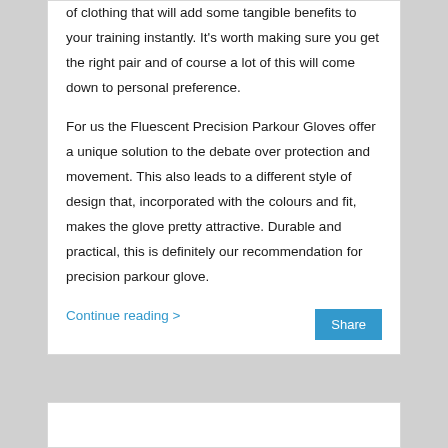of clothing that will add some tangible benefits to your training instantly. It's worth making sure you get the right pair and of course a lot of this will come down to personal preference.

For us the Fluescent Precision Parkour Gloves offer a unique solution to the debate over protection and movement. This also leads to a different style of design that, incorporated with the colours and fit, makes the glove pretty attractive. Durable and practical, this is definitely our recommendation for precision parkour glove.
Continue reading >